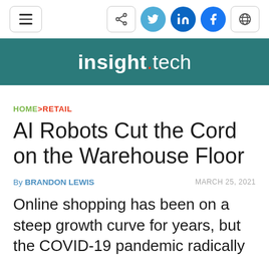insight.tech
HOME > RETAIL
AI Robots Cut the Cord on the Warehouse Floor
By BRANDON LEWIS | MARCH 25, 2021
Online shopping has been on a steep growth curve for years, but the COVID-19 pandemic radically